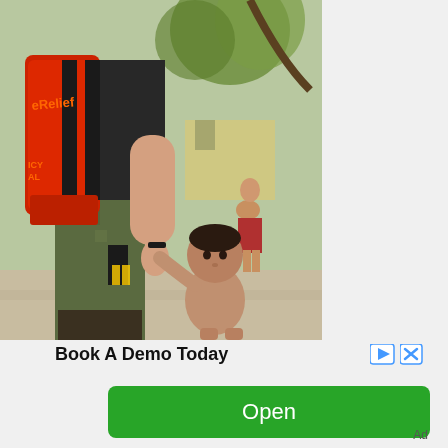[Figure (photo): A relief worker wearing a red backpack labeled 'Relief' and camouflage pants holds the hand of a young shirtless child who looks up at the worker. In the background are storm-damaged buildings and trees, and another child in a red dress is visible.]
Book A Demo Today
[Figure (other): Small ad control icons: a forward/play arrow icon and an X/close icon in blue]
[Figure (other): Green button labeled 'Open']
Ad